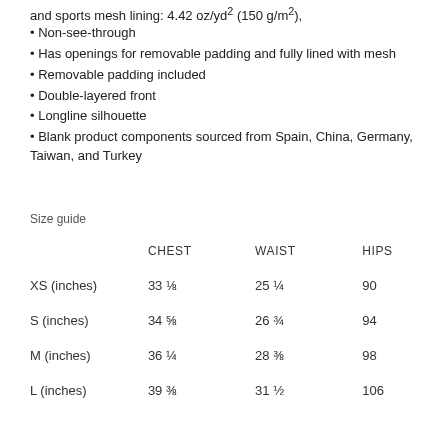and sports mesh lining: 4.42 oz/yd² (150 g/m²),
Non-see-through
Has openings for removable padding and fully lined with mesh
Removable padding included
Double-layered front
Longline silhouette
Blank product components sourced from Spain, China, Germany, Taiwan, and Turkey
Size guide
|  | CHEST | WAIST | HIPS |
| --- | --- | --- | --- |
| XS (inches) | 33 ⅛ | 25 ¼ | 90 |
| S (inches) | 34 ⅝ | 26 ¾ | 94 |
| M (inches) | 36 ¼ | 28 ⅜ | 98 |
| L (inches) | 39 ⅜ | 31 ½ | 106 |